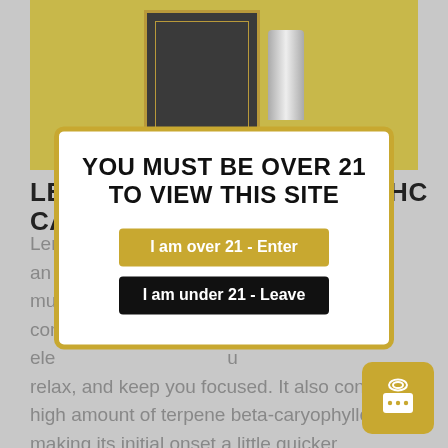[Figure (photo): Product photo of Lemon Cookies Strain THC Cartridge on yellow-green background with dark box and silver cartridge]
LEMON COOKIES STRAIN THC CARTRIDGE
Lemon Cookies is just an unique... a multi... e com... ele... u relax, and keep you focused. It also contains a high amount of terpene beta-caryophyllene, making its initial onset a little quicker, particularly among users with a low toler for Tetrahydrocannabinol (THC) or new to
YOU MUST BE OVER 21 TO VIEW THIS SITE
I am over 21 - Enter
I am under 21 - Leave